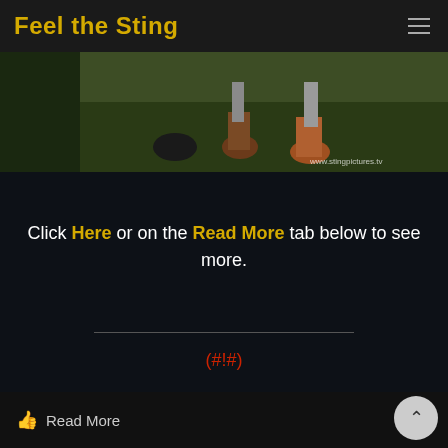Feel the Sting
[Figure (photo): A cropped outdoor scene showing legs/boots and ground vegetation with watermark www.stingpictures.tv]
Click Here or on the Read More tab below to see more.
(#!#)
Read More